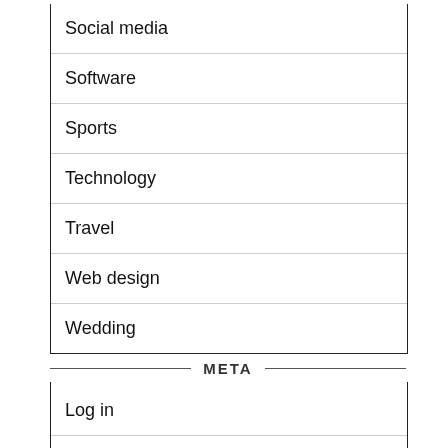Social media
Software
Sports
Technology
Travel
Web design
Wedding
META
Log in